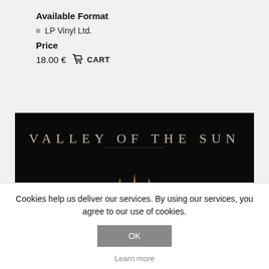Available Format
LP Vinyl Ltd.
Price
18.00 €  🛒 CART
[Figure (illustration): Album artwork for 'Valley of the Sun' showing stylized sun rays on a dark background with golden/orange colors and the text 'VALLEY OF THE SUN' at the top.]
Cookies help us deliver our services. By using our services, you agree to our use of cookies.
OK
Learn more